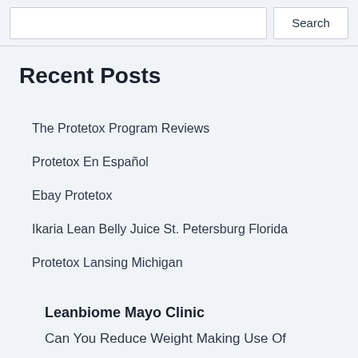[Figure (screenshot): Search input box and Search button at the top of the page]
Recent Posts
The Protetox Program Reviews
Protetox En Español
Ebay Protetox
Ikaria Lean Belly Juice St. Petersburg Florida
Protetox Lansing Michigan
Leanbiome Mayo Clinic
Can You Reduce Weight Making Use Of